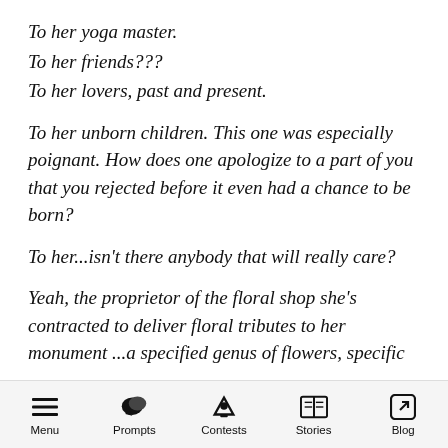To her yoga master.
To her friends???
To her lovers, past and present.
To her unborn children. This one was especially poignant. How does one apologize to a part of you that you rejected before it even had a chance to be born?
To her...isn't there anybody that will really care?
Yeah, the proprietor of the floral shop she's contracted to deliver floral tributes to her monument ...a specified genus of flowers, specific
Menu | Prompts | Contests | Stories | Blog